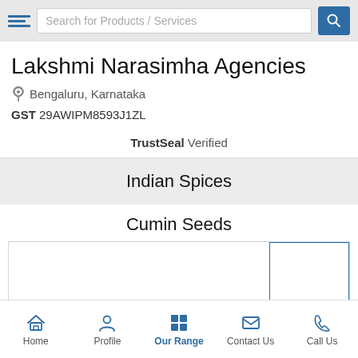[Figure (screenshot): Search bar with hamburger menu icon, text input 'Search for Products / Services', and blue search button]
Lakshmi Narasimha Agencies
Bengaluru, Karnataka
GST 29AWIPM8593J1ZL
TrustSeal Verified
Indian Spices
Cumin Seeds
[Figure (photo): Product image area for Cumin Seeds with thumbnail column on right]
Home  Profile  Our Range  Contact Us  Call Us